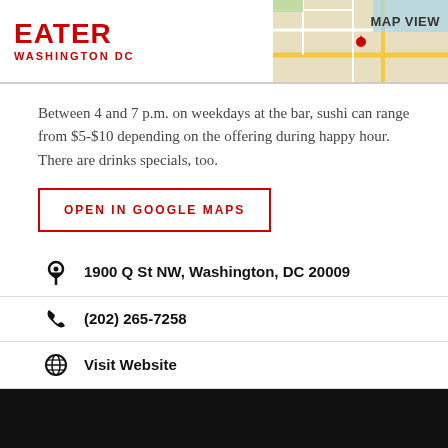EATER WASHINGTON DC
[Figure (map): Map thumbnail with MAP VIEW label in header]
Between 4 and 7 p.m. on weekdays at the bar, sushi can range from $5-$10 depending on the offering during happy hour. There are drinks specials, too.
OPEN IN GOOGLE MAPS
1900 Q St NW, Washington, DC 20009
(202) 265-7258
Visit Website
[Figure (photo): Dark/black photograph at bottom of page]